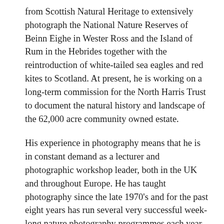from Scottish Natural Heritage to extensively photograph the National Nature Reserves of Beinn Eighe in Wester Ross and the Island of Rum in the Hebrides together with the reintroduction of white-tailed sea eagles and red kites to Scotland. At present, he is working on a long-term commission for the North Harris Trust to document the natural history and landscape of the 62,000 acre community owned estate.
His experience in photography means that he is in constant demand as a lecturer and photographic workshop leader, both in the UK and throughout Europe. He has taught photography since the late 1970's and for the past eight years has run several very successful week-long nature photography programmes each year at the Aigas Field Centre in the Scottish Highlands. He is also valued as a photographic judge and has been invited onto the panel for the prestigious 'BBC Wildlife Photographer of the Year,' a competition in which he has previously won twenty three